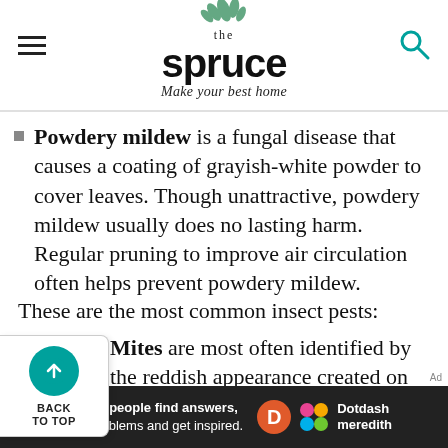the spruce — Make your best home
Powdery mildew is a fungal disease that causes a coating of grayish-white powder to cover leaves. Though unattractive, powdery mildew usually does no lasting harm. Regular pruning to improve air circulation often helps prevent powdery mildew.
These are the most common insect pests:
Mites are most often identified by the reddish appearance created on the twigs, followed by withering leaves. Smothering the insects and eggs with horticultural oil is
[Figure (other): Back to top button with teal circle and upward arrow]
Ad
[Figure (logo): Dotdash Meredith advertisement banner: We help people find answers, solve problems and get inspired.]